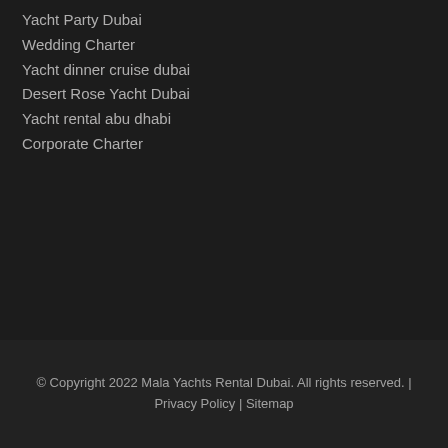Yacht Party Dubai
Wedding Charter
Yacht dinner cruise dubai
Desert Rose Yacht Dubai
Yacht rental abu dhabi
Corporate Charter
© Copyright 2022 Mala Yachts Rental Dubai. All rights reserved. | Privacy Policy | Sitemap